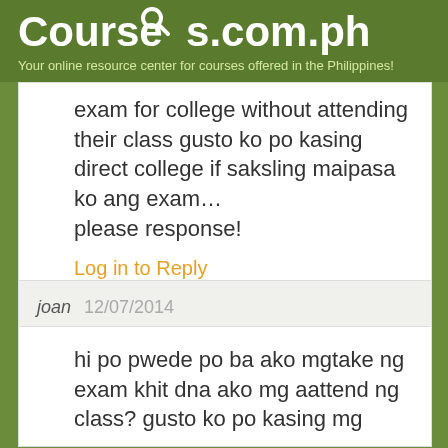Courses.com.ph — Your online resource center for courses offered in the Philippines!
exam for college without attending their class gusto ko po kasing direct college if saksling maipasa ko ang exam… please response!
Log in to Reply
joan  12/07/2014
hi po pwede po ba ako mgtake ng exam khit dna ako mg aattend ng class? gusto ko po kasing mg